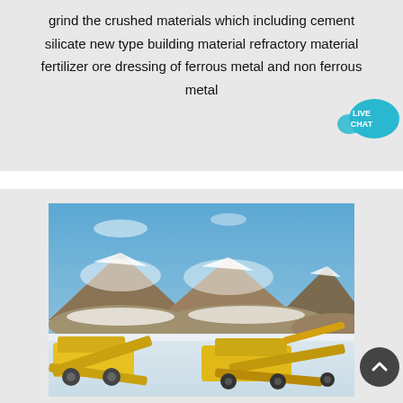grind the crushed materials which including cement silicate new type building material refractory material fertilizer ore dressing of ferrous metal and non ferrous metal
[Figure (photo): Yellow heavy mining/crushing machinery equipment operating in a snowy open-pit mine or quarry site, with large piles of crushed rock/ore in the background under a blue sky with snow on the ground.]